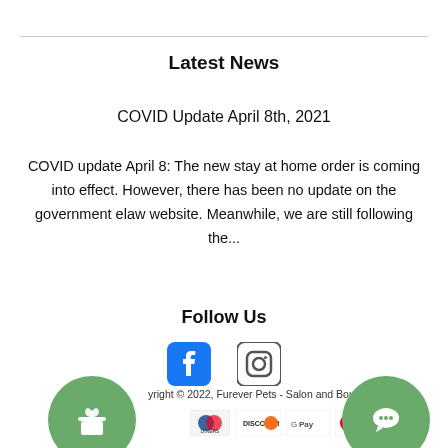Latest News
COVID Update April 8th, 2021
COVID update April 8: The new stay at home order is coming into effect. However, there has been no update on the government elaw website. Meanwhile, we are still following the...
Follow Us
[Figure (illustration): Facebook and Instagram social media icons]
Copyright © 2022, Furever Pets - Salon and Boutique
[Figure (illustration): Payment method icons: Diners Club, Discover, Google Pay, Mastercard, Shop Pay]